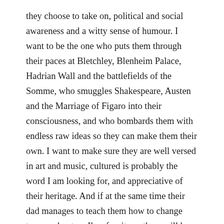they choose to take on, political and social awareness and a witty sense of humour. I want to be the one who puts them through their paces at Bletchley, Blenheim Palace, Hadrian Wall and the battlefields of the Somme, who smuggles Shakespeare, Austen and the Marriage of Figaro into their consciousness, and who bombards them with endless raw ideas so they can make them their own. I want to make sure they are well versed in art and music, cultured is probably the word I am looking for, and appreciative of their heritage. And if at the same time their dad manages to teach them how to change tyres and put up Ikea furniture, there will be no stopping them.
Share this: